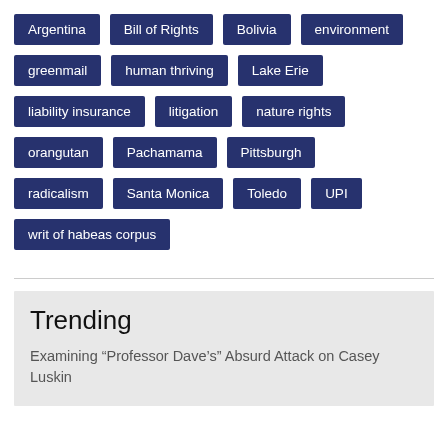Argentina
Bill of Rights
Bolivia
environment
greenmail
human thriving
Lake Erie
liability insurance
litigation
nature rights
orangutan
Pachamama
Pittsburgh
radicalism
Santa Monica
Toledo
UPI
writ of habeas corpus
Trending
Examining “Professor Dave’s” Absurd Attack on Casey Luskin